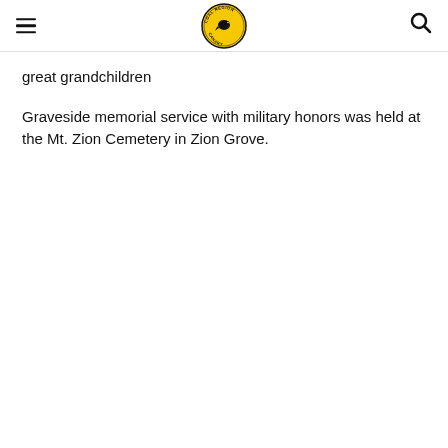[Coal Region Canary logo, hamburger menu, search icon]
great grandchildren
Graveside memorial service with military honors was held at the Mt. Zion Cemetery in Zion Grove.